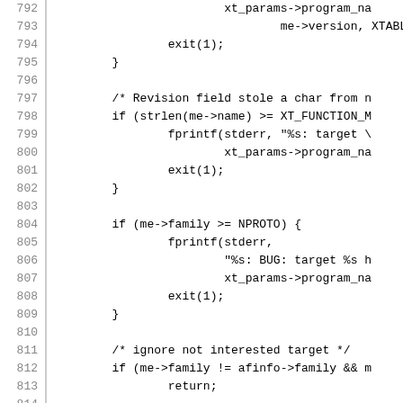[Figure (other): Source code listing in C, lines 792-821, showing xtables target registration logic with version checks, family checks, and duplicate target handling.]